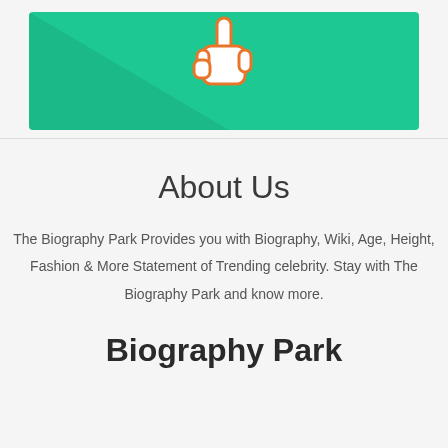[Figure (illustration): Teal/green rectangle with a pointing hand cursor icon in white and orange, decorative triangle overlay]
About Us
The Biography Park Provides you with Biography, Wiki, Age, Height, Fashion & More Statement of Trending celebrity. Stay with The Biography Park and know more.
Biography Park